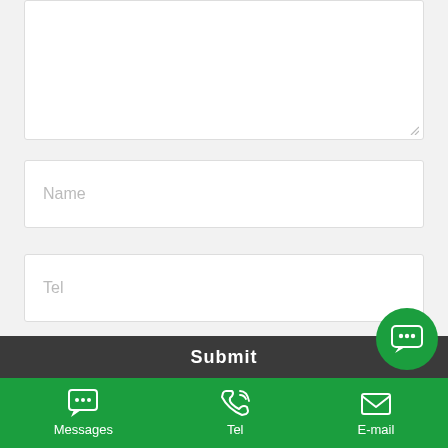[Figure (screenshot): Text area input box (empty, with resize handle at bottom-right)]
Name
Tel
E-mail
Captcha
Submit
[Figure (infographic): Green circular chat/message bubble button with three dots icon]
Messages | Tel | E-mail